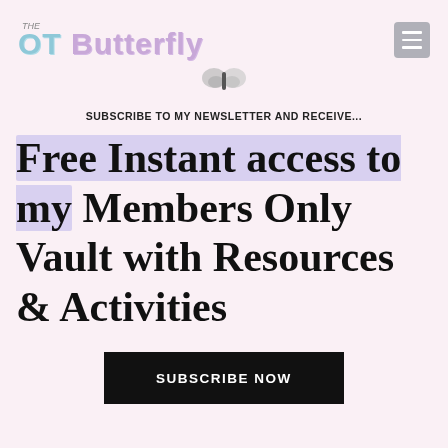THE OT Butterfly
[Figure (illustration): Partial butterfly image at top center of content area]
SUBSCRIBE TO MY NEWSLETTER AND RECEIVE...
Free Instant access to my Members Only Vault with Resources & Activities
SUBSCRIBE NOW